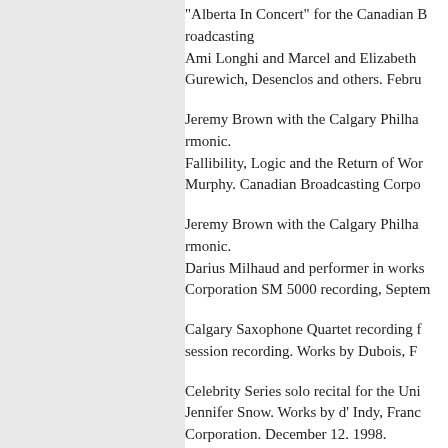"Alberta In Concert" for the Canadian Broadcasting Corporation. Ami Longhi and Marcel and Elizabeth Gurewich, Desenclos and others. Febru...
Jeremy Brown with the Calgary Philharmonic. Fallibility, Logic and the Return of Wor... Murphy. Canadian Broadcasting Corpo...
Jeremy Brown with the Calgary Philharmonic. Darius Milhaud and performer in works... Corporation SM 5000 recording, Septe...
Calgary Saxophone Quartet recording f... session recording. Works by Dubois, F...
Celebrity Series solo recital for the Uni... Jennifer Snow. Works by d' Indy, Fran... Corporation. December 12. 1998.